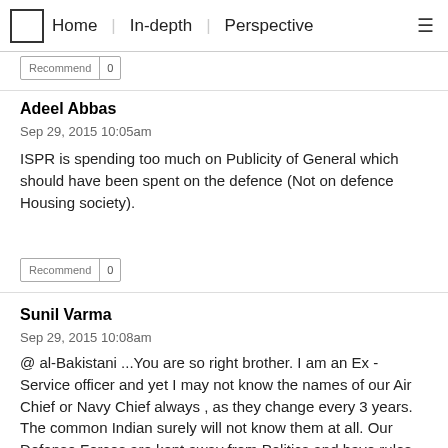Home | In-depth | Perspective
Recommend 0
Adeel Abbas
Sep 29, 2015 10:05am
ISPR is spending too much on Publicity of General which should have been spent on the defence (Not on defence Housing society).
Recommend 0
Sunil Varma
Sep 29, 2015 10:08am
@ al-Bakistani ...You are so right brother. I am an Ex - Service officer and yet I may not know the names of our Air Chief or Navy Chief always , as they change every 3 years. The common Indian surely will not know them at all. Our Defense Forces are kept away from Politics and have rules that do not permit  them to speak to the press without approval of the